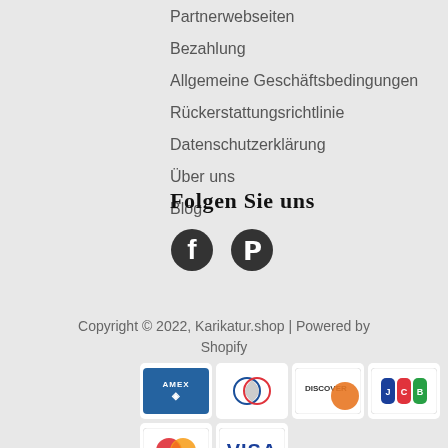Partnerwebseiten
Bezahlung
Allgemeine Geschäftsbedingungen
Rückerstattungsrichtlinie
Datenschutzerklärung
Über uns
Blog
Folgen Sie uns
[Figure (illustration): Facebook and Pinterest social media icons]
Copyright © 2022, Karikatur.shop | Powered by Shopify
[Figure (other): Payment method logos: AMEX, Diners Club, Discover, JCB, Mastercard, Visa]